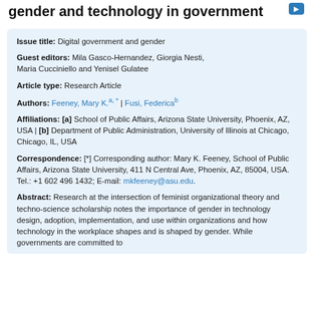gender and technology in government
Issue title: Digital government and gender
Guest editors: Mila Gasco-Hernandez, Giorgia Nesti, Maria Cucciniello and Yenisel Gulatee
Article type: Research Article
Authors: Feeney, Mary K.a; * | Fusi, Federicab
Affiliations: [a] School of Public Affairs, Arizona State University, Phoenix, AZ, USA | [b] Department of Public Administration, University of Illinois at Chicago, Chicago, IL, USA
Correspondence: [*] Corresponding author: Mary K. Feeney, School of Public Affairs, Arizona State University, 411 N Central Ave, Phoenix, AZ, 85004, USA. Tel.: +1 602 496 1432; E-mail: mkfeeney@asu.edu.
Abstract: Research at the intersection of feminist organizational theory and techno-science scholarship notes the importance of gender in technology design, adoption, implementation, and use within organizations and how technology in the workplace shapes and is shaped by gender. While governments are committed to